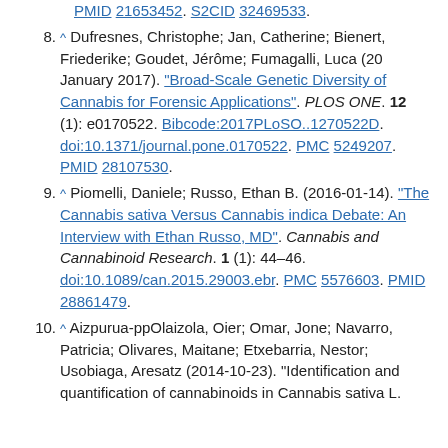PMID 21653452. S2CID 32469533.
8. ^ Dufresnes, Christophe; Jan, Catherine; Bienert, Friederike; Goudet, Jérôme; Fumagalli, Luca (20 January 2017). "Broad-Scale Genetic Diversity of Cannabis for Forensic Applications". PLOS ONE. 12 (1): e0170522. Bibcode:2017PLoSO..1270522D. doi:10.1371/journal.pone.0170522. PMC 5249207. PMID 28107530.
9. ^ Piomelli, Daniele; Russo, Ethan B. (2016-01-14). "The Cannabis sativa Versus Cannabis indica Debate: An Interview with Ethan Russo, MD". Cannabis and Cannabinoid Research. 1 (1): 44–46. doi:10.1089/can.2015.29003.ebr. PMC 5576603. PMID 28861479.
10. ^ Aizpurua-ppOlaizola, Oier; Omar, Jone; Navarro, Patricia; Olivares, Maitane; Etxebarria, Nestor; Usobiaga, Aresatz (2014-10-23). "Identification and quantification of cannabinoids in Cannabis sativa L.